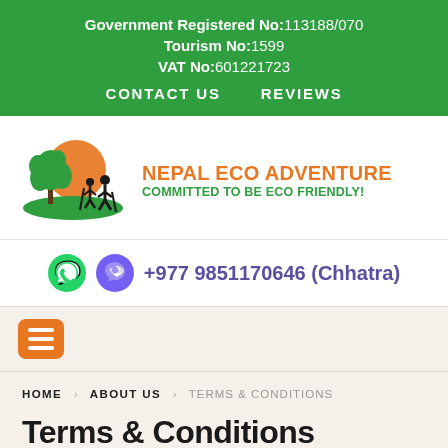Government Registered No:113188/070
Tourism No:1599
VAT No:601221723
CONTACT US    REVIEWS
[Figure (logo): Nepal Eco Adventure logo with orange sun, green tree leaves, and hiker silhouettes]
NEPAL ECO ADVENTURE
COMMITTED TO BE ECO FRIENDLY!
+977 9851170646 (Chhatra)
[Figure (other): Orange hamburger menu button icon]
HOME   ABOUT US   TERMS & CONDITIONS
Terms & Conditions